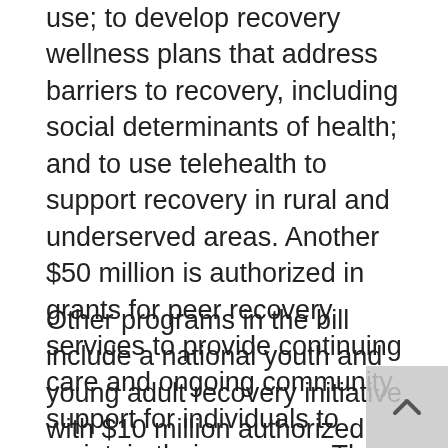use; to develop recovery wellness plans that address barriers to recovery, including social determinants of health; and to use telehealth to support recovery in rural and underserved areas. Another $50 million is authorized in grants for peer recovery services to provide continuing care and ongoing community support for individuals to maintain their recovery. These organizations are nonprofits that mobilize resources within and outside the recovery community to increase long-term recovery and that are wholly or principally governed by people in recovery who reflect the community served.
Other programs in the bill include a national youth and young adult recovery initiative, with $10 million authorized annually to provide substance use recovery support services to youth and young adults enrolled in high school or an institution of